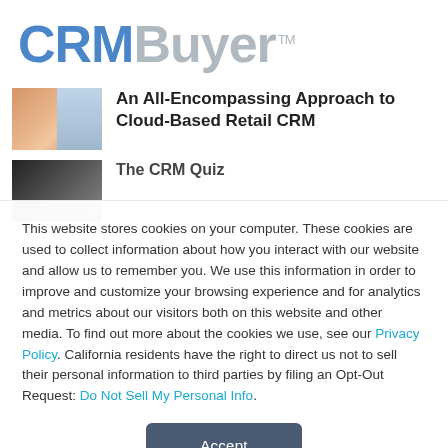[Figure (logo): CRMBuyer logo — 'CRM' in blue bold, 'Buyer' in gray, with TM superscript]
An All-Encompassing Approach to Cloud-Based Retail CRM
The CRM Quiz
This website stores cookies on your computer. These cookies are used to collect information about how you interact with our website and allow us to remember you. We use this information in order to improve and customize your browsing experience and for analytics and metrics about our visitors both on this website and other media. To find out more about the cookies we use, see our Privacy Policy. California residents have the right to direct us not to sell their personal information to third parties by filing an Opt-Out Request: Do Not Sell My Personal Info.
Accept